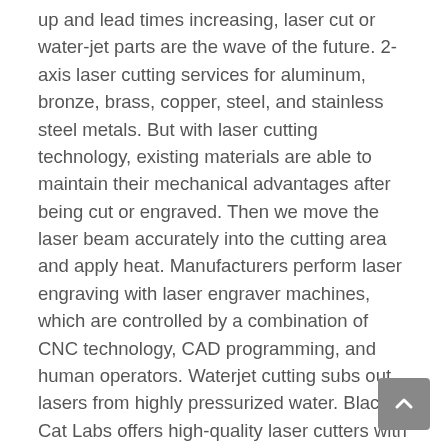up and lead times increasing, laser cut or water-jet parts are the wave of the future. 2-axis laser cutting services for aluminum, bronze, brass, copper, steel, and stainless steel metals. But with laser cutting technology, existing materials are able to maintain their mechanical advantages after being cut or engraved. Then we move the laser beam accurately into the cutting area and apply heat. Manufacturers perform laser engraving with laser engraver machines, which are controlled by a combination of CNC technology, CAD programming, and human operators. Waterjet cutting subs out lasers from highly pressurized water. Black Cat Labs offers high-quality laser cutters with large working areas and easy to use software. Today's sophisticated machines can offer accuracy of up to 10 micrometers — better than or consistent with the best mechanical cutting machines, while offering improved workholding and less risk of contamination. The plate laser cutting process is characterized by the high precision achieved in every